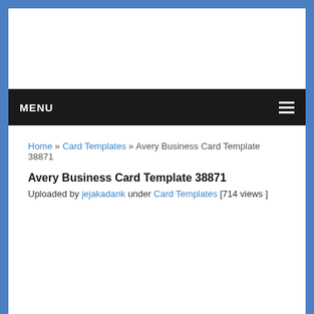MENU
Home » Card Templates » Avery Business Card Template 38871
Avery Business Card Template 38871
Uploaded by jejakadank under Card Templates [714 views ]